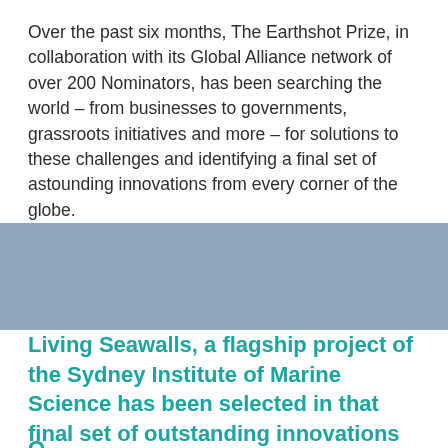≡
Over the past six months, The Earthshot Prize, in collaboration with its Global Alliance network of over 200 Nominators, has been searching the world – from businesses to governments, grassroots initiatives and more – for solutions to these challenges and identifying a final set of astounding innovations from every corner of the globe.
Living Seawalls, a flagship project of the Sydney Institute of Marine Science has been selected in that final set of outstanding innovations for Reviving Our Oceans.